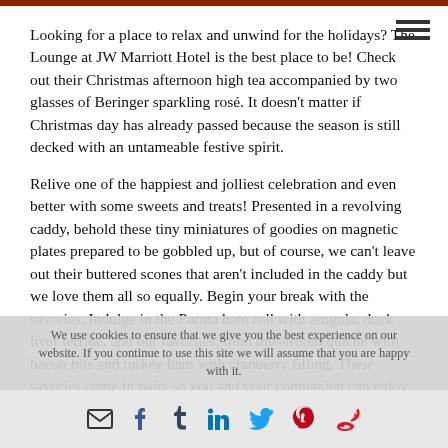Looking for a place to relax and unwind for the holidays? The Lounge at JW Marriott Hotel is the best place to be! Check out their Christmas afternoon high tea accompanied by two glasses of Beringer sparkling rosé. It doesn't matter if Christmas day has already passed because the season is still decked with an untameable festive spirit.
Relive one of the happiest and jolliest celebration and even better with some sweets and treats! Presented in a revolving caddy, behold these tiny miniatures of goodies on magnetic plates prepared to be gobbled up, but of course, we can't leave out their buttered scones that aren't included in the caddy but we love them all so equally. Begin your break with the savories. Indulge in the Parma ham roll with arugula, duck liver terrine, and our favorites; mini mushroom quiche with bacon bits and turkey ham with cranberry filling. These savories come in pairs so you and your companion can enjoy it whole.
We use cookies to ensure that we give you the best experience on our website. If you continue to use this site we will assume that you are happy with it.
Social share icons: email, facebook, tumblr, linkedin, twitter, pinterest, weibo